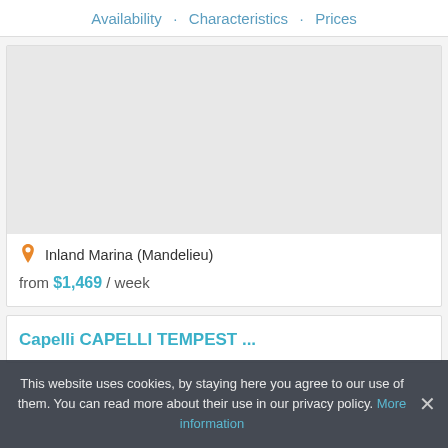Availability · Characteristics · Prices
[Figure (map): Map area placeholder showing boat/marina location]
📍 Inland Marina (Mandelieu)
from $1,469 / week
Capelli CAPELLI TEMPEST ...
This website uses cookies, by staying here you agree to our use of them. You can read more about their use in our privacy policy. More information